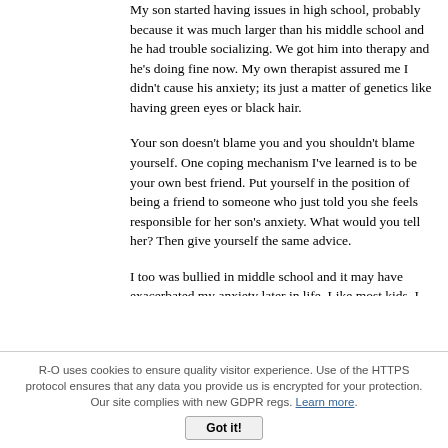My son started having issues in high school, probably because it was much larger than his middle school and he had trouble socializing. We got him into therapy and he's doing fine now. My own therapist assured me I didn't cause his anxiety; its just a matter of genetics like having green eyes or black hair.
Your son doesn't blame you and you shouldn't blame yourself. One coping mechanism I've learned is to be your own best friend. Put yourself in the position of being a friend to someone who just told you she feels responsible for her son's anxiety. What would you tell her? Then give yourself the same advice.
I too was bullied in middle school and it may have exacerbated my anxiety later in life. Like most kids, I never told my parents. But I
R-O uses cookies to ensure quality visitor experience. Use of the HTTPS protocol ensures that any data you provide us is encrypted for your protection. Our site complies with new GDPR regs. Learn more.
Got it!